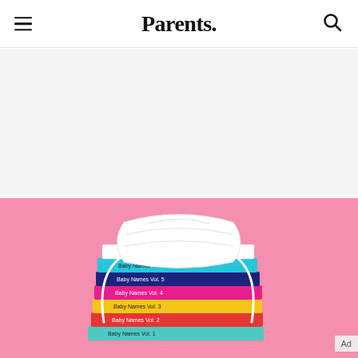Parents.
[Figure (photo): Stack of colorful children's books with a white KN95/N95 face mask draped over them, on a pink background. Books are labeled 'Baby Names Vol.' in various colors including teal, pink, yellow, red, and blue.]